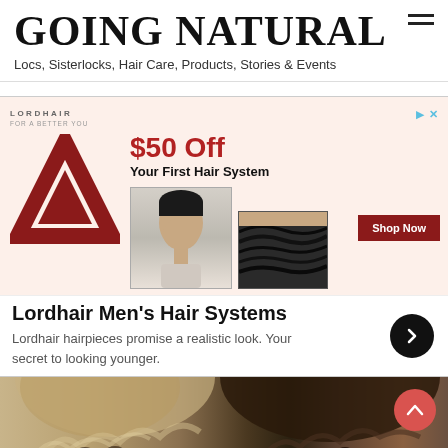GOING NATURAL
Locs, Sisterlocks, Hair Care, Products, Stories & Events
[Figure (infographic): Lordhair advertisement banner showing triangular logo, $50 Off Your First Hair System promotion with mannequin head photos and Shop Now button. Includes Lordhair Men's Hair Systems headline and tagline: Lordhair hairpieces promise a realistic look. Your secret to looking younger.]
[Figure (photo): Bottom portion of page showing two people with curly/natural hair from above the eyes up, one with light curly hair on left and one with dark curly hair on right.]